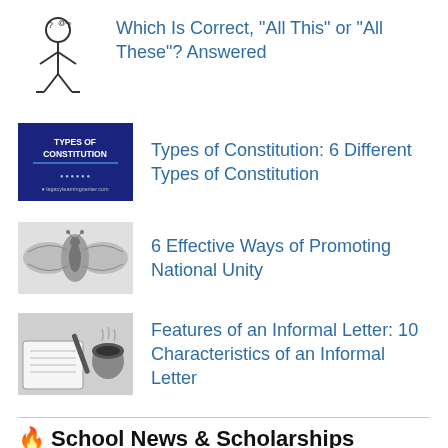Which Is Correct, “All This” or “All These”? Answered
Types of Constitution: 6 Different Types of Constitution
6 Effective Ways of Promoting National Unity
Features of an Informal Letter: 10 Characteristics of an Informal Letter
🔥 School News & Scholarships
Cheapest Universities In Canada 2022: 13 Most